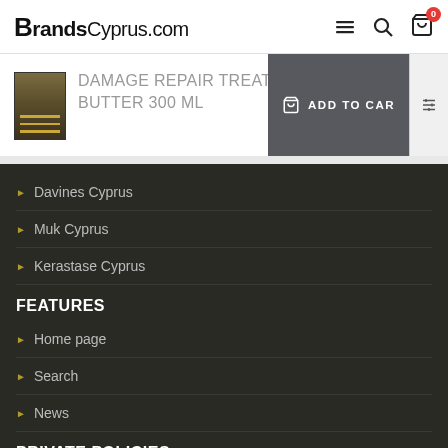BrandsCyprus.com
DAMAGE REPAIR TREATMENT BUTTER 300 ML
[Figure (photo): Product image of a dark jar/container with gold label stripe]
ADD TO CART
Davines Cyprus
Muk Cyprus
Kerastase Cyprus
FEATURES
Home page
Search
News
PRIVATE POLICIES